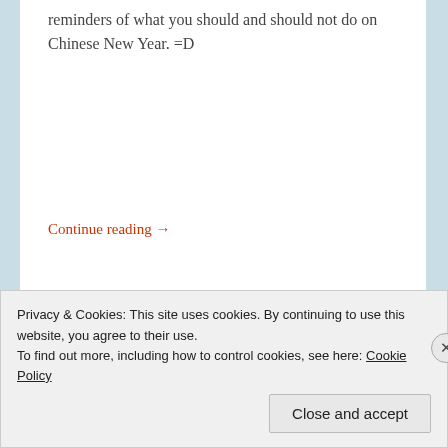reminders of what you should and should not do on Chinese New Year. =D
Continue reading →
[Thread] Glor... of Tang...
Privacy & Cookies: This site uses cookies. By continuing to use this website, you agree to their use.
To find out more, including how to control cookies, see here: Cookie Policy
Close and accept